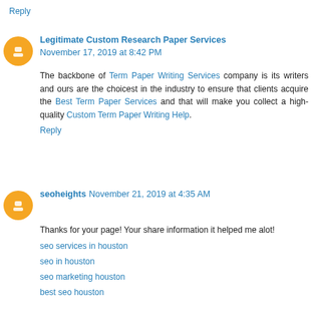Reply
Legitimate Custom Research Paper Services November 17, 2019 at 8:42 PM
The backbone of Term Paper Writing Services company is its writers and ours are the choicest in the industry to ensure that clients acquire the Best Term Paper Services and that will make you collect a high-quality Custom Term Paper Writing Help.
Reply
seoheights November 21, 2019 at 4:35 AM
Thanks for your page! Your share information it helped me alot!
seo services in houston
seo in houston
seo marketing houston
best seo houston